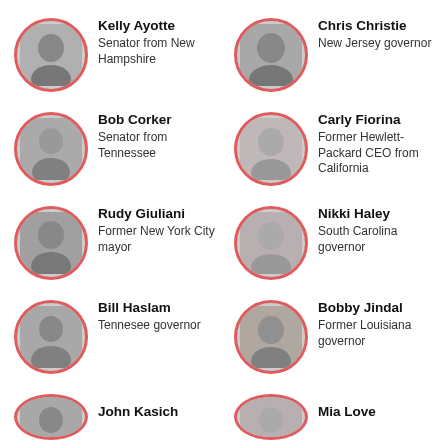[Figure (infographic): Grid of political figures with circular portrait photos and name/role labels. Two columns, partially cut off at bottom.]
Kelly Ayotte
Senator from New Hampshire
Chris Christie
New Jersey governor
Bob Corker
Senator from Tennessee
Carly Fiorina
Former Hewlett-Packard CEO from California
Rudy Giuliani
Former New York City mayor
Nikki Haley
South Carolina governor
Bill Haslam
Tennesee governor
Bobby Jindal
Former Louisiana governor
John Kasich
Mia Love